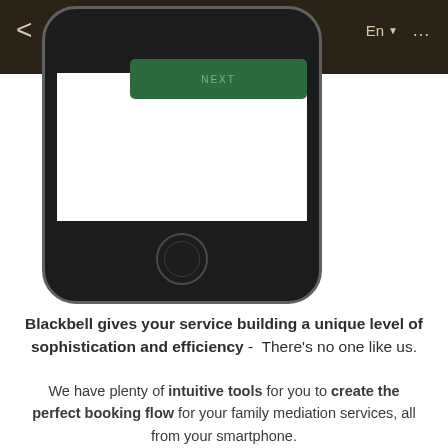[Figure (screenshot): A smartphone (iPhone-style) showing a mobile app interface with a dark navigation bar at top containing back arrow, hamburger menu, home icon on the left and En language selector and ellipsis on the right, along with a green NEXT button. The phone has a white screen area and a circular home button at the bottom.]
Blackbell gives your service building a unique level of sophistication and efficiency - There's no one like us.
We have plenty of intuitive tools for you to create the perfect booking flow for your family mediation services, all from your smartphone.